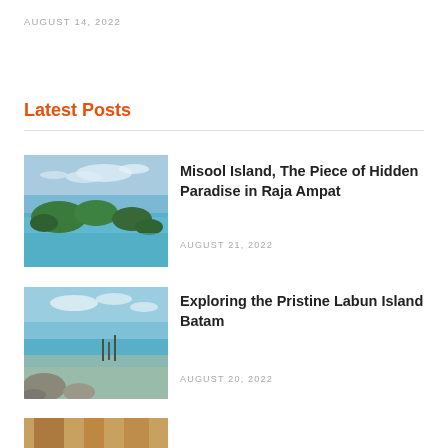AUGUST 14, 2022
Latest Posts
[Figure (photo): Aerial view of tropical island group with lush green islands and turquoise water in Raja Ampat]
Misool Island, The Piece of Hidden Paradise in Raja Ampat
AUGUST 21, 2022
[Figure (photo): Beach scene with shallow turquoise water, rocky foreground, and tropical shore in Labun Island Batam]
Exploring the Pristine Labun Island Batam
AUGUST 20, 2022
[Figure (photo): Partial view of a third post image, cut off at page bottom]